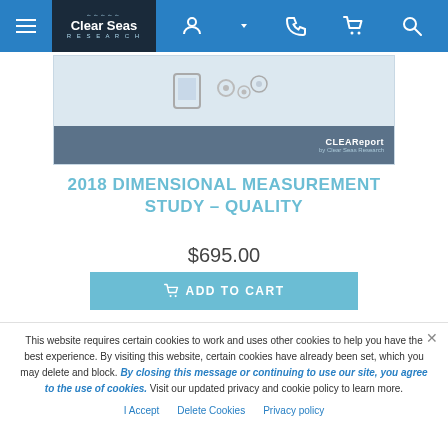Clear Seas Research navigation bar with hamburger menu, logo, and icons
[Figure (screenshot): Product image area showing CLEAReport branding on a dark gray banner over a light product image area with icons]
2018 DIMENSIONAL MEASUREMENT STUDY – QUALITY
$695.00
ADD TO CART
This website requires certain cookies to work and uses other cookies to help you have the best experience. By visiting this website, certain cookies have already been set, which you may delete and block. By closing this message or continuing to use our site, you agree to the use of cookies. Visit our updated privacy and cookie policy to learn more.
I Accept   Delete Cookies   Privacy policy